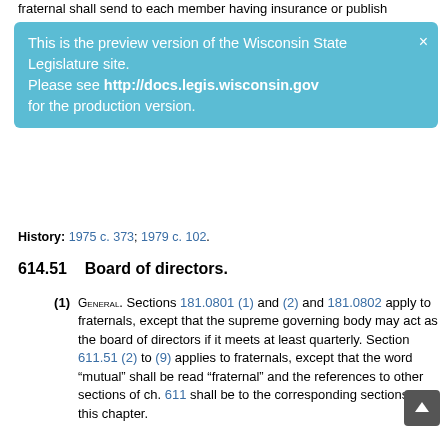fraternal shall send to each member having insurance or publish
[Figure (infographic): Blue banner overlay: 'This is the preview version of the Wisconsin State Legislature site. Please see http://docs.legis.wisconsin.gov for the production version.' with a close X button.]
History: 1975 c. 373; 1979 c. 102.
614.51    Board of directors.
(1) GENERAL. Sections 181.0801 (1) and (2) and 181.0802 apply to fraternals, except that the supreme governing body may act as the board of directors if it meets at least quarterly. Section 611.51 (2) to (9) applies to fraternals, except that the word “mutual” shall be read “fraternal” and the references to other sections of ch. 611 shall be to the corresponding sections of this chapter.
(2) TERMS OF DIRECTORS AND OFFICERS. The terms of directors and officers may not exceed 4 years.
History: 1975 c. 373; 1997 a. 79.
614.53    Removal of directors and officers and filling of vacancies.
A director may be removed from office for cause by an affirmative vote of a majority of the full board at a meeting of the board called for that purpose or may be removed under 181.0843 (2) and 181.0844. Any vacancy occurring in the board